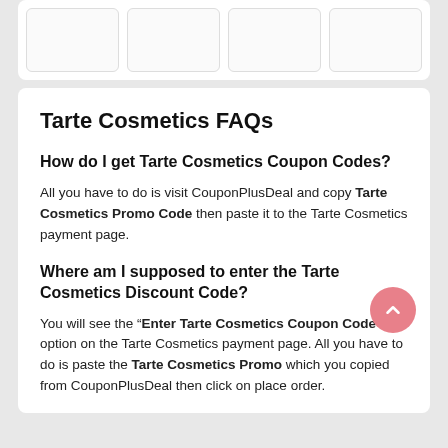[Figure (other): Top card with four placeholder image boxes]
Tarte Cosmetics FAQs
How do I get Tarte Cosmetics Coupon Codes?
All you have to do is visit CouponPlusDeal and copy Tarte Cosmetics Promo Code then paste it to the Tarte Cosmetics payment page.
Where am I supposed to enter the Tarte Cosmetics Discount Code?
You will see the “Enter Tarte Cosmetics Coupon Code” option on the Tarte Cosmetics payment page. All you have to do is paste the Tarte Cosmetics Promo which you copied from CouponPlusDeal then click on place order.